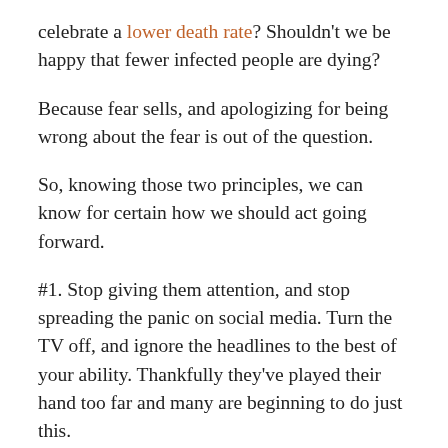celebrate a lower death rate? Shouldn't we be happy that fewer infected people are dying?
Because fear sells, and apologizing for being wrong about the fear is out of the question.
So, knowing those two principles, we can know for certain how we should act going forward.
#1. Stop giving them attention, and stop spreading the panic on social media. Turn the TV off, and ignore the headlines to the best of your ability. Thankfully they've played their hand too far and many are beginning to do just this.
#2. When you know the tactics, notice when they are being used. When you see the next shock headline (because total disengagement is almost impossible),